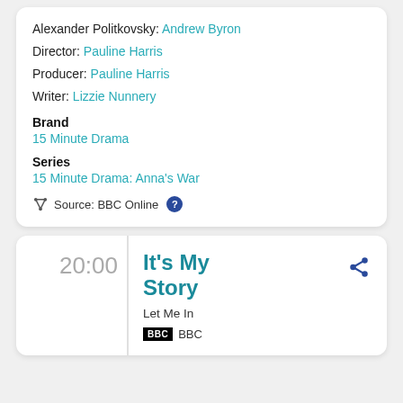Alexander Politkovsky: Andrew Byron
Director: Pauline Harris
Producer: Pauline Harris
Writer: Lizzie Nunnery
Brand
15 Minute Drama
Series
15 Minute Drama: Anna's War
Source: BBC Online
20:00
It's My Story
Let Me In
BBC